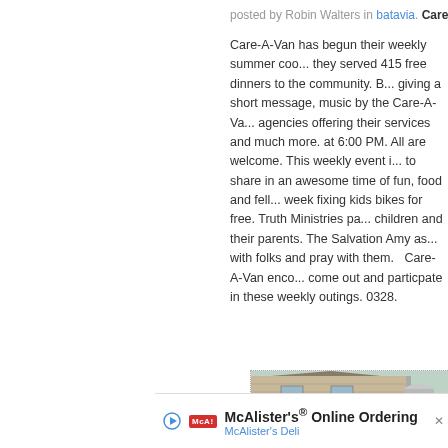posted by Robin Walters in batavia. Care-A-Van
Care-A-Van has begun their weekly summer coo... they served 415 free dinners to the community. B... giving a short message, music by the Care-A-Va... agencies offering their services and much more. at 6:00 PM. All are welcome. This weekly event i... to share in an awesome time of fun, food and fel... week fixing kids bikes for free. Truth Ministries p... children and their parents. The Salvation Amy as... with folks and pray with them.   Care-A-Van enco... come out and particpate in these weekly outings. 0328.
[Figure (photo): Outdoor photo showing a beige multi-story house with green bushes/trees in front, and a smiling man in a red shirt and cap standing in the foreground on the right side.]
McAlister's® Online Ordering
McAlister's Deli